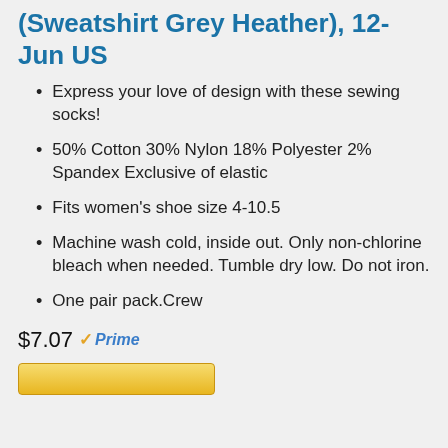(Sweatshirt Grey Heather), 12-Jun US
Express your love of design with these sewing socks!
50% Cotton 30% Nylon 18% Polyester 2% Spandex Exclusive of elastic
Fits women's shoe size 4-10.5
Machine wash cold, inside out. Only non-chlorine bleach when needed. Tumble dry low. Do not iron.
One pair pack.Crew
$7.07 Prime